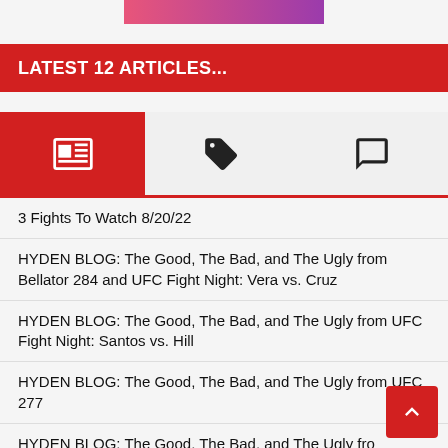[Figure (other): Pink to purple gradient banner at top center]
LATEST 12 ARTICLES...
[Figure (infographic): Tab bar with three icons: newspaper/articles (active, red background), tag, and chat bubble]
3 Fights To Watch 8/20/22
HYDEN BLOG: The Good, The Bad, and The Ugly from Bellator 284 and UFC Fight Night: Vera vs. Cruz
HYDEN BLOG: The Good, The Bad, and The Ugly from UFC Fight Night: Santos vs. Hill
HYDEN BLOG: The Good, The Bad, and The Ugly from UFC 277
HYDEN BLOG: The Good, The Bad, and The Ugly from Bellator 283 and UFC Fight Night: Blaydes vs. Aspinall